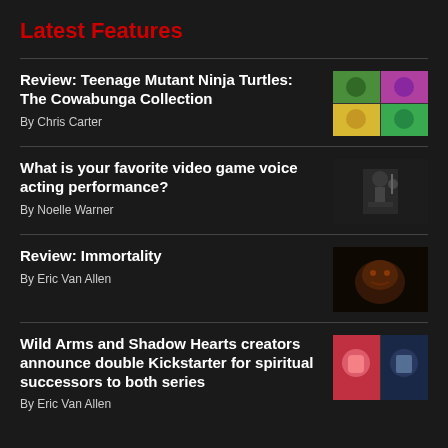Latest Features
Review: Teenage Mutant Ninja Turtles: The Cowabunga Collection
By Chris Carter
[Figure (photo): Collage of Teenage Mutant Ninja Turtles game screenshots in 2x2 grid]
What is your favorite video game voice acting performance?
By Noelle Warner
[Figure (photo): Dark studio photo of a voice actor at a microphone]
Review: Immortality
By Eric Van Allen
[Figure (photo): Dark moody image from Immortality game]
Wild Arms and Shadow Hearts creators announce double Kickstarter for spiritual successors to both series
By Eric Van Allen
[Figure (photo): Split image showing anime-style characters from Wild Arms and Shadow Hearts successors]